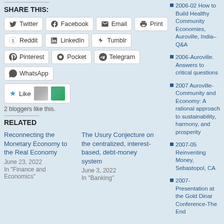SHARE THIS:
Twitter
Facebook
Email
Print
Reddit
LinkedIn
Tumblr
Pinterest
Pocket
Telegram
WhatsApp
2 bloggers like this.
RELATED
Reconnecting the Monetary Economy to the Real Economy
June 23, 2022
In "Finance and Economics"
The Usury Conjecture on the centralized, interest-based, debt-money system
June 3, 2022
In "Banking"
2006-02 How to Build Healthy Community Economies, Auroville, India–Q&A
2006-Auroville. Answers to critical questions
2007 Auroville-Community and Economy: A rational approach to sustainability, harmony, and prosperity
2007-05 Reinventing Money, Sebastopol, CA
2007-Presentation at the Gold Dinar Conference-The End